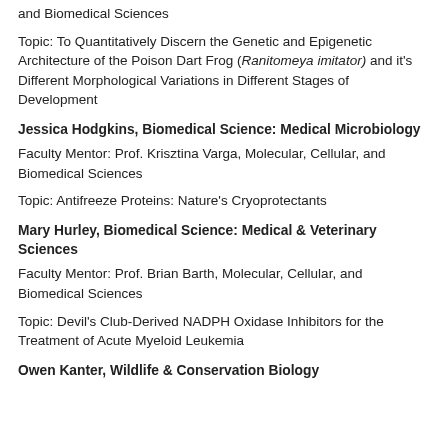and Biomedical Sciences
Topic: To Quantitatively Discern the Genetic and Epigenetic Architecture of the Poison Dart Frog (Ranitomeya imitator) and it's Different Morphological Variations in Different Stages of Development
Jessica Hodgkins, Biomedical Science: Medical Microbiology
Faculty Mentor: Prof. Krisztina Varga, Molecular, Cellular, and Biomedical Sciences
Topic: Antifreeze Proteins: Nature's Cryoprotectants
Mary Hurley, Biomedical Science: Medical & Veterinary Sciences
Faculty Mentor: Prof. Brian Barth, Molecular, Cellular, and Biomedical Sciences
Topic: Devil's Club-Derived NADPH Oxidase Inhibitors for the Treatment of Acute Myeloid Leukemia
Owen Kanter, Wildlife & Conservation Biology